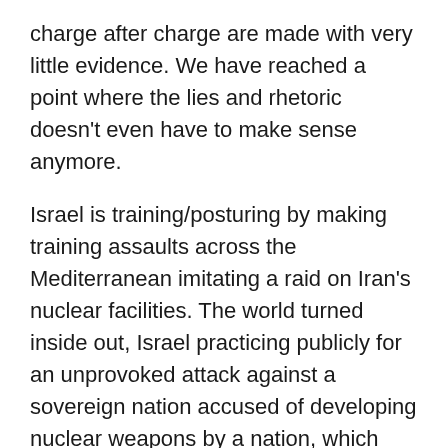charge after charge are made with very little evidence. We have reached a point where the lies and rhetoric doesn't even have to make sense anymore.
Israel is training/posturing by making training assaults across the Mediterranean imitating a raid on Iran's nuclear facilities. The world turned inside out, Israel practicing publicly for an unprovoked attack against a sovereign nation accused of developing nuclear weapons by a nation, which clandestinely developed nuclear weapons. If however you untie the knots the attack would come precisely because Iran doesn't have any nuclear weapons. The purpose then becomes Israel preserving her clandestine nuclear hegemony.
It was mutual assured destruction that helped preserve the peace during the cold war. The Cuban missile crisis made